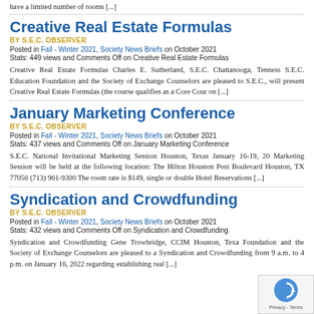have a limited number of rooms [...]
Creative Real Estate Formulas
BY S.E.C. OBSERVER
Posted in Fall - Winter 2021, Society News Briefs on October 2021
Stats: 449 views and Comments Off on Creative Real Estate Formulas
Creative Real Estate Formulas Charles E. Sutherland, S.E.C. Chattanooga, Tennessee S.E.C. Education Foundation and the Society of Exchange Counselors are pleased to S.E.C., will present Creative Real Estate Formulas (the course qualifies as a Core Cour on [...]
January Marketing Conference
BY S.E.C. OBSERVER
Posted in Fall - Winter 2021, Society News Briefs on October 2021
Stats: 437 views and Comments Off on January Marketing Conference
S.E.C. National Invitational Marketing Session Houston, Texas January 16-19, 20 Marketing Session will be held at the following location: The Hilton Houston Post Boulevard Houston, TX 77056 (713) 961-9300 The room rate is $149, single or double Hotel Reservations [...]
Syndication and Crowdfunding
BY S.E.C. OBSERVER
Posted in Fall - Winter 2021, Society News Briefs on October 2021
Stats: 432 views and Comments Off on Syndication and Crowdfunding
Syndication and Crowdfunding Gene Trowbridge, CCIM Houston, Texas Foundation and the Society of Exchange Counselors are pleased to a Syndication and Crowdfunding from 9 a.m. to 4 p.m. on January 16, 2022 regarding establishing real [...]